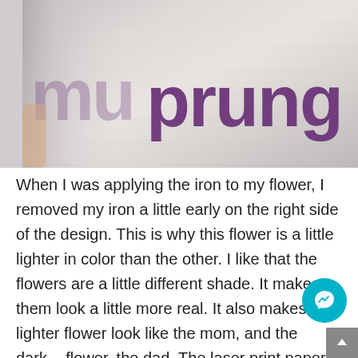[Figure (photo): Close-up photo of white fabric/clothing with purple text reading 'muprung' (partially visible letters 'mu' and 'prung'), showing an iron-on transfer design]
When I was applying the iron to my flower, I removed my iron a little early on the right side of the design. This is why this flower is a little lighter in color than the other. I like that the flowers are a little different shade. It makes them look a little more real. It also makes the lighter flower look like the mom, and the darker flower, the dad. The laser print paper that has the design on it is still very vibrant even after transferring